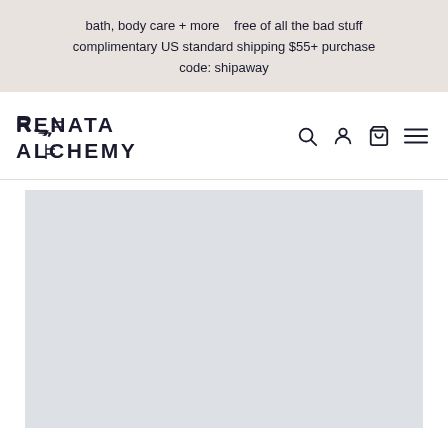bath, body care + more   free of all the bad stuff
complimentary US standard shipping $55+ purchase
code: shipaway
[Figure (logo): Renata Alchemy brand logo with stylized text, navigation icons for search, account, cart, and menu]
[Figure (photo): Large light gray placeholder image area below the navigation bar]